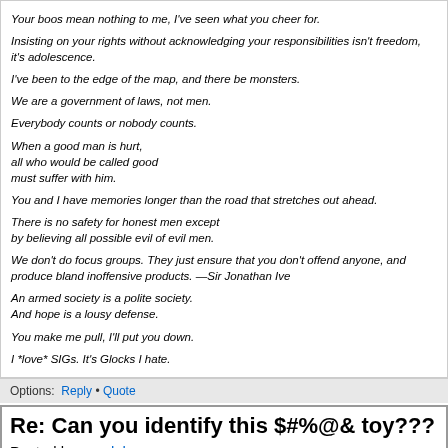Your boos mean nothing to me, I've seen what you cheer for.
Insisting on your rights without acknowledging your responsibilities isn't freedom, it's adolescence.
I've been to the edge of the map, and there be monsters.
We are a government of laws, not men.
Everybody counts or nobody counts.
When a good man is hurt,
all who would be called good
must suffer with him.
You and I have memories longer than the road that stretches out ahead.
There is no safety for honest men except
by believing all possible evil of evil men.
We don't do focus groups. They just ensure that you don't offend anyone, and produce bland inoffensive products. —Sir Jonathan Ive
An armed society is a polite society.
And hope is a lousy defense.
You make me pull, I'll put you down.
I *love* SIGs. It's Glocks I hate.
Options:  Reply • Quote
Re: Can you identify this $#%@& toy???
Posted by: modelamac
Date: May 13, 2021 08:50AM
Quote